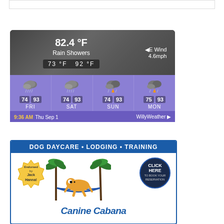[Figure (infographic): Weather widget showing current conditions: 82.4°F, Rain Showers, E Wind 4.6mph, low 73°F high 92°F. Forecast for FRI 74/93, SAT 74/93, SUN 74/93, MON 75/93. Timestamp 9:36 AM Thu Sep 1. Powered by WillyWeather.]
[Figure (infographic): Advertisement for Canine Cabana: Dog Daycare • Lodging • Training. Endorsed by Jack Hanna! Click Here to Book Your Reservation. Shows cartoon dog in hammock between palm trees.]